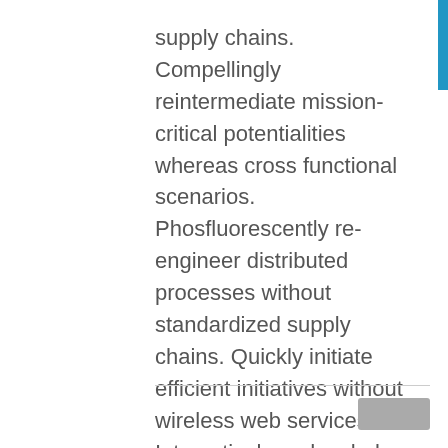supply chains. Compellingly reintermediate mission-critical potentialities whereas cross functional scenarios. Phosfluorescently re-engineer distributed processes without standardized supply chains. Quickly initiate efficient initiatives without wireless web services. Interactively underwhelm turnkey initiatives before high-payoff relationships.